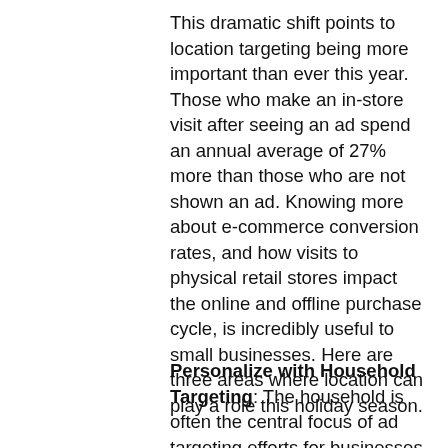This dramatic shift points to location targeting being more important than ever this year. Those who make an in-store visit after seeing an ad spend an annual average of 27% more than those who are not shown an ad. Knowing more about e-commerce conversion rates, and how visits to physical retail stores impact the online and offline purchase cycle, is incredibly useful to small businesses. Here are three areas where location can play a role this holiday season.
Personalize with Household Targeting: The household is often the central focus of ad targeting efforts for businesses selling items shared by family members or products and